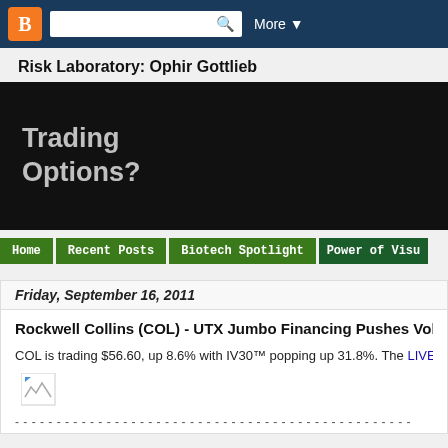Blogger navigation bar with search
Risk Laboratory: Ophir Gottlieb
[Figure (screenshot): Blog banner with black background and white text reading 'Trading Options?']
Home | Recent Posts | Biotech Spotlight | Power of Visu...
Friday, September 16, 2011
Rockwell Collins (COL) - UTX Jumbo Financing Pushes Vol and
COL is trading $56.60, up 8.6% with IV30™ popping up 31.8%. The LIVEVOL®
[Figure (screenshot): Broken image placeholder icon]
------------------------------------------------------------